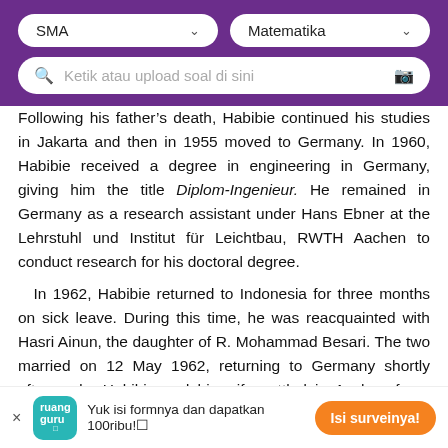[Figure (screenshot): Purple header with two dropdowns (SMA, Matematika) and a search bar (Ketik atau upload soal di sini)]
Following his father's death, Habibie continued his studies in Jakarta and then in 1955 moved to Germany. In 1960, Habibie received a degree in engineering in Germany, giving him the title Diplom-Ingenieur. He remained in Germany as a research assistant under Hans Ebner at the Lehrstuhl und Institut für Leichtbau, RWTH Aachen to conduct research for his doctoral degree.

In 1962, Habibie returned to Indonesia for three months on sick leave. During this time, he was reacquainted with Hasri Ainun, the daughter of R. Mohammad Besari. The two married on 12 May 1962, returning to Germany shortly afterwards. Habibie and his wife settled in Aachen for a short period
Yuk isi formnya dan dapatkan 100ribu!
Isi surveinya!